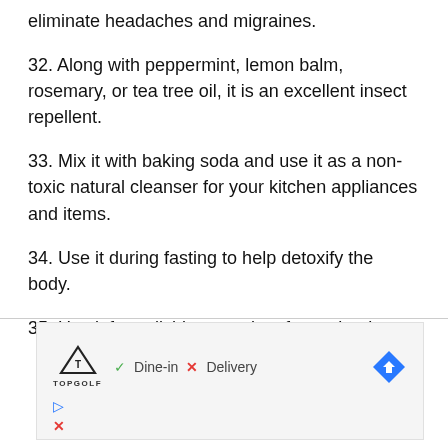eliminate headaches and migraines.
32. Along with peppermint, lemon balm, rosemary, or tea tree oil, it is an excellent insect repellent.
33. Mix it with baking soda and use it as a non-toxic natural cleanser for your kitchen appliances and items.
34. Use it during fasting to help detoxify the body.
35. Use it for polishing metal surfaces, but be
[Figure (other): Advertisement banner featuring Topgolf logo, Dine-in checkmark, Delivery X mark, navigation arrow diamond icon, play button icon, and close X icon]